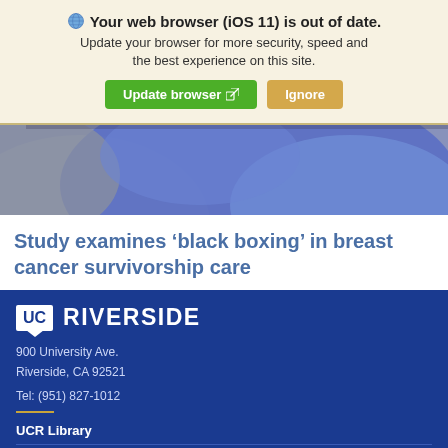Your web browser (iOS 11) is out of date. Update your browser for more security, speed and the best experience on this site. Update browser  Ignore
[Figure (photo): Close-up abstract photo of colorful curved shapes in blue, purple, and grey tones]
Study examines ‘black boxing’ in breast cancer survivorship care
UC RIVERSIDE
900 University Ave.
Riverside, CA 92521
Tel: (951) 827-1012
UCR Library
Campus Status